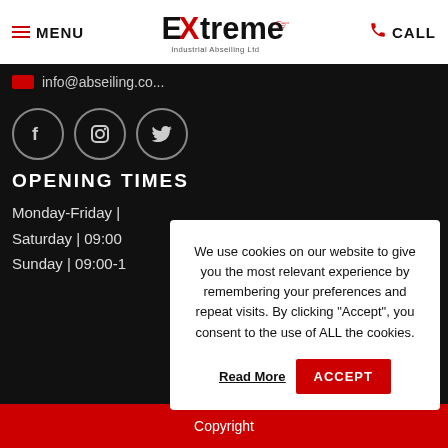MENU | Extreme Industrial Abseiling Ltd | CALL
info@abseiling.co...
[Figure (illustration): Three social media icons in circles: Facebook, Instagram, Twitter]
OPENING TIMES
Monday-Friday |
Saturday | 09:00
Sunday | 09:00-1
Abseiling Co. ...
We use cookies on our website to give you the most relevant experience by remembering your preferences and repeat visits. By clicking “Accept”, you consent to the use of ALL the cookies.
Read More   ACCEPT
Copyright